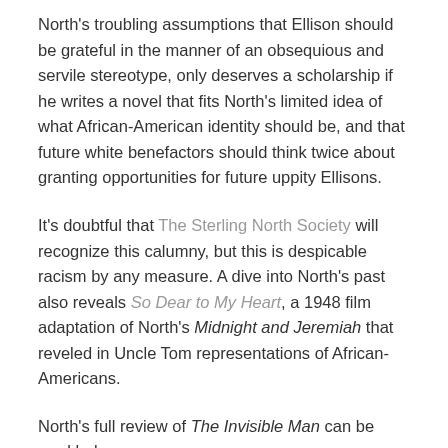North's troubling assumptions that Ellison should be grateful in the manner of an obsequious and servile stereotype, only deserves a scholarship if he writes a novel that fits North's limited idea of what African-American identity should be, and that future white benefactors should think twice about granting opportunities for future uppity Ellisons.
It's doubtful that The Sterling North Society will recognize this calumny, but this is despicable racism by any measure. A dive into North's past also reveals So Dear to My Heart, a 1948 film adaptation of North's Midnight and Jeremiah that reveled in Uncle Tom representations of African-Americans.
North's full review of The Invisible Man can be read below: